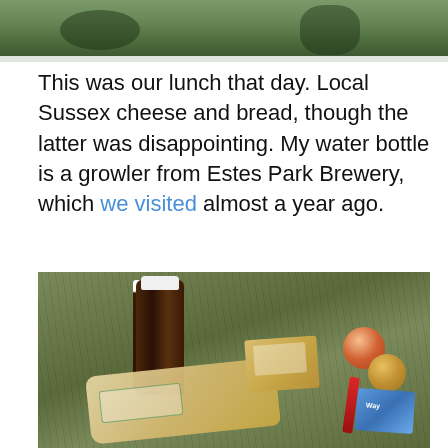[Figure (photo): Top portion of a photo showing greenery and outdoor scene, partially cropped at the top of the page]
This was our lunch that day. Local Sussex cheese and bread, though the latter was disappointing. My water bottle is a growler from Estes Park Brewery, which we visited almost a year ago.
[Figure (photo): Photo of a picnic lunch laid on grass, showing a brown growler bottle with white cap, a block of Sussex cheese with label, two apples, a bag of bread/focaccia, a red swiss army knife, and a blue packet, all resting on green grass]